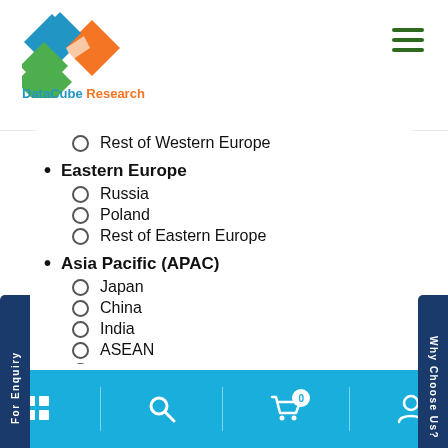DataCube Research
Rest of Western Europe
Eastern Europe
Russia
Poland
Rest of Eastern Europe
Asia Pacific (APAC)
Japan
China
India
ASEAN
Australia
Rest of Asia-Pacific
Latin America
Brazil
Mexico
For Enquiry | Why Choose Us? | navigation icons